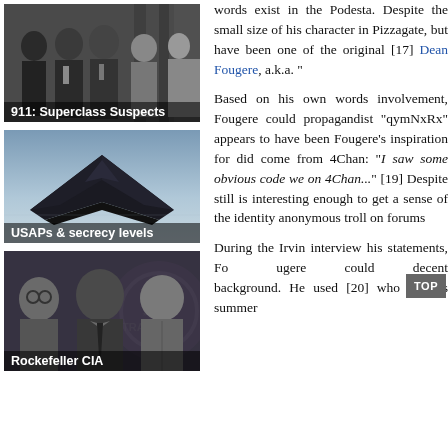[Figure (photo): Black and white photo of a group of men in suits, possibly officials or dignitaries]
911: Superclass Suspects
[Figure (photo): Black and white/dark photo of a stealth aircraft (F-117 style) against a grey sky]
USAPs & secrecy levels
[Figure (photo): Black and white photo of three men, Rockefeller CIA themed, with a CIA logo in background]
Rockefeller CIA
words exist in the Podesta. Despite the small size of his character in Pizzagate, b... have been one of the orig... [17] Dean Fougere, a.k.a. "...
Based on his own word... involvement, Fougere cou... propagandist "qymNxRx... appears to have been... Fougere's inspiration fo... did come from 4Chan: "...saw some obvious code w... on 4Chan..." [19] Despite... still is interesting enough... to get a sense of the identi... anonymous troll on forum...
During the Irvin intervie... his statements, Fougere c... decent background. He us... [20] who for his summe...